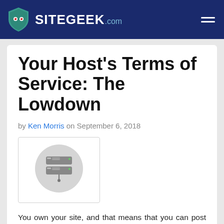SITEGEEK.com
Your Host's Terms of Service: The Lowdown
by Ken Morris on September 6, 2018
[Figure (illustration): Gray circular icon with a server/database stack illustration, inside a white bordered box]
You own your site, and that means that you can post whatever you want on that site, right? Not so fast. Your hosting company has `Terms of Service` (TOS) that you must know and adhere to unless you want your site to be shut down. That`s the simple part. The tricky